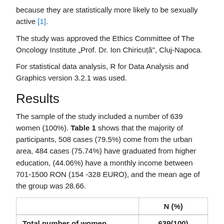because they are statistically more likely to be sexually active [1].
The study was approved the Ethics Committee of The Oncology Institute „Prof. Dr. Ion Chiricuță", Cluj-Napoca.
For statistical data analysis, R for Data Analysis and Graphics version 3.2.1 was used.
Results
The sample of the study included a number of 639 women (100%). Table 1 shows that the majority of participants, 508 cases (79.5%) come from the urban area, 484 cases (75.74%) have graduated from higher education, (44.06%) have a monthly income between 701-1500 RON (154 -328 EURO), and the mean age of the group was 28.66.
|  | N (%) |
| --- | --- |
| Total number of women | 639(100) |
| Residence area |  |